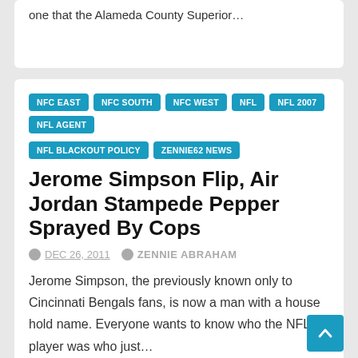one that the Alameda County Superior…
NFC EAST
NFC SOUTH
NFC WEST
NFL
NFL 2007
NFL AGENT
NFL BLACKOUT POLICY
ZENNIE62 NEWS
Jerome Simpson Flip, Air Jordan Stampede Pepper Sprayed By Cops
DEC 26, 2011   ZENNIE ABRAHAM
Jerome Simpson, the previously known only to Cincinnati Bengals fans, is now a man with a house hold name. Everyone wants to know who the NFL player was who just…